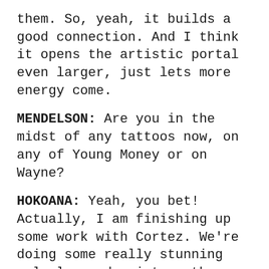them. So, yeah, it builds a good connection. And I think it opens the artistic portal even larger, just lets more energy come.
MENDELSON: Are you in the midst of any tattoos now, on any of Young Money or on Wayne?
HOKOANA: Yeah, you bet! Actually, I am finishing up some work with Cortez. We’re doing some really stunning male leopard print on the insides of his biceps, all the way from his elbow to his armpit, and it just looks awesome. They’re so cool about